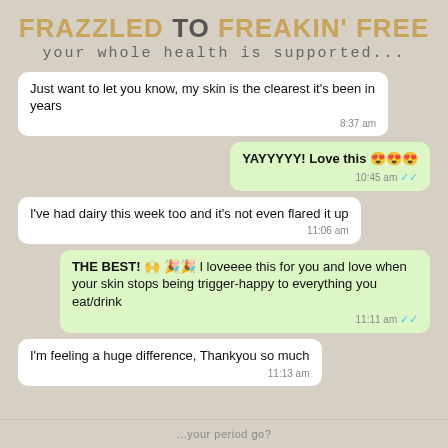FRAZZLED TO FREAKIN' FREE
your whole health is supported...
Just want to let you know, my skin is the clearest it's been in years
8:37 am
YAYYYYY! Love this 😍😍😍
10:45 am ✓✓
I've had dairy this week too and it's not even flared it up
11:06 am
THE BEST! 🙌 🎉 🎉 I loveeee this for you and love when your skin stops being trigger-happy to everything you eat/drink
11:11 am ✓✓
I'm feeling a huge difference, Thankyou so much
11:13 am
...your period go?